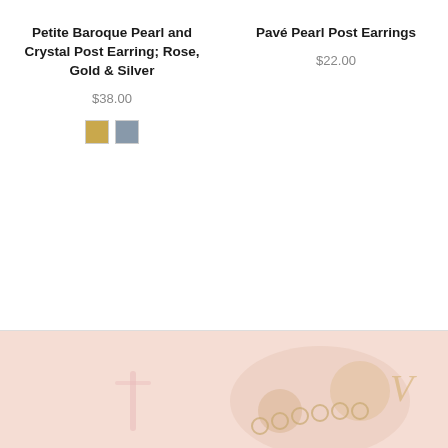Petite Baroque Pearl and Crystal Post Earring; Rose, Gold & Silver
$38.00
[Figure (other): Two color swatches: gold and silver/blue-grey square color options]
Pavé Pearl Post Earrings
$22.00
[Figure (photo): Peach/pink background with gold jewelry pieces including rings and accessories arranged decoratively]